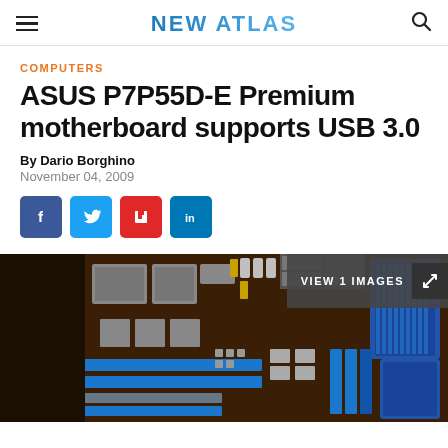NEW ATLAS
COMPUTERS
ASUS P7P55D-E Premium motherboard supports USB 3.0
By Dario Borghino
November 04, 2009
[Figure (screenshot): Social sharing buttons: Facebook, Twitter, Flipboard, LinkedIn]
[Figure (photo): Photo of ASUS P7P55D-E Premium motherboard with blue PCIe slots and heatsinks, overlaid with 'VIEW 1 IMAGES' badge]